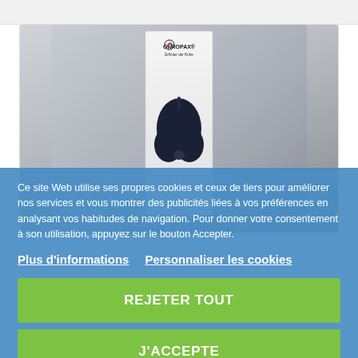[Figure (photo): Product photo of OHROPAX Masque de Nuit 3D sleep eye mask on a light grey gradient background. The eye mask is dark navy blue/black shaped with two eye cups. The product packaging is visible behind it with OHROPAX branding.]
Masque de Nuit 3D Ohropax
Ce site Web utilise ses propres cookies et ceux de tiers pour améliorer nos services et vous montrer des publicités liées à vos préférences en analysant vos habitudes de navigation. Pour donner votre consentement à son utilisation, appuyez sur le bouton Accepter.
Plus d'informations
Personnaliser les cookies
REJETER TOUT
J'ACCEPTE